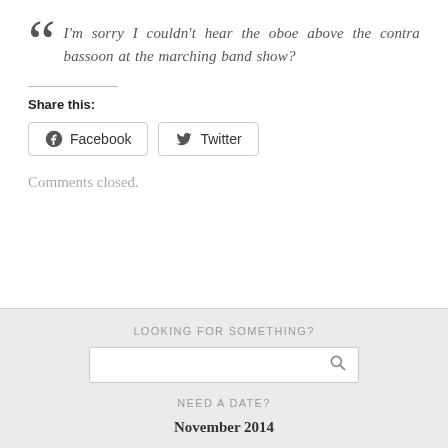I'm sorry I couldn't hear the oboe above the contra bassoon at the marching band show?
Share this:
Facebook  Twitter
Comments closed.
LOOKING FOR SOMETHING?
NEED A DATE?
November 2014